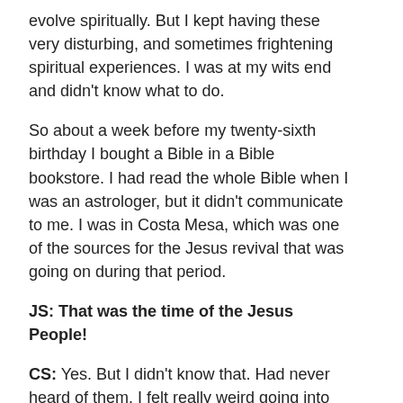evolve spiritually. But I kept having these very disturbing, and sometimes frightening spiritual experiences. I was at my wits end and didn't know what to do.
So about a week before my twenty-sixth birthday I bought a Bible in a Bible bookstore. I had read the whole Bible when I was an astrologer, but it didn't communicate to me. I was in Costa Mesa, which was one of the sources for the Jesus revival that was going on during that period.
JS: That was the time of the Jesus People!
CS: Yes. But I didn't know that. Had never heard of them. I felt really weird going into this Christian bookstore to buy a Bible and being the only longhair with the Fu Manchu, but there were longhairs there! It kind of shocked me, and nobody bothered me.